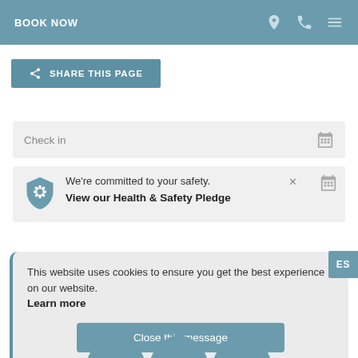BOOK NOW
SHARE THIS PAGE
Check in
We're committed to your safety. View our Health & Safety Pledge
This website uses cookies to ensure you get the best experience on our website. Learn more
Close this message